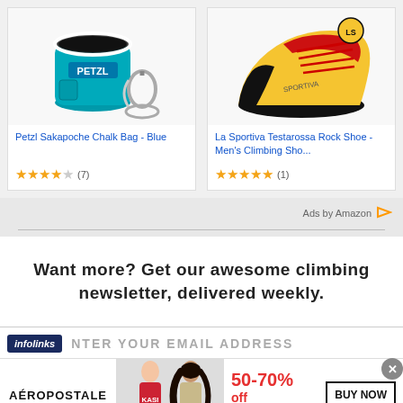[Figure (screenshot): Petzl Sakapoche Chalk Bag Blue product image - teal chalk bag with white trim and a carabiner/clip]
Petzl Sakapoche Chalk Bag - Blue
★★★★☆ (7)
[Figure (screenshot): La Sportiva Testarossa Rock Shoe - Men's Climbing Shoe - yellow and red climbing shoe]
La Sportiva Testarossa Rock Shoe - Men's Climbing Sho...
★★★★★ (1)
Ads by Amazon ▷
Want more? Get our awesome climbing newsletter, delivered weekly.
infolinks   NTER YOUR EMAIL ADDRESS
[Figure (screenshot): Aeropostale advertisement banner: two girls modeling clothes, 50-70% off Everything!, BUY NOW button]